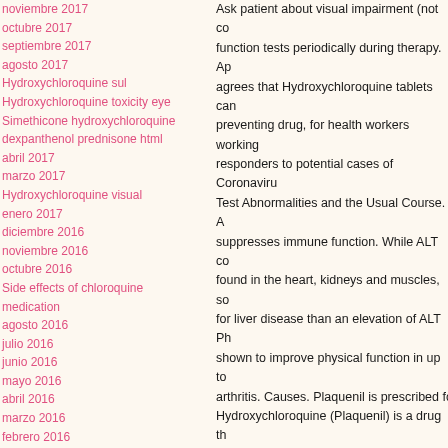noviembre 2017
octubre 2017
septiembre 2017
agosto 2017
Hydroxychloroquine sul
Hydroxychloroquine toxicity eye
Simethicone hydroxychloroquine
dexpanthenol prednisone html
abril 2017
marzo 2017
Hydroxychloroquine visual
enero 2017
diciembre 2016
noviembre 2016
octubre 2016
Side effects of chloroquine medication
agosto 2016
julio 2016
junio 2016
mayo 2016
abril 2016
marzo 2016
febrero 2016
enero 2016
diciembre 2015
noviembre 2015
Ask patient about visual impairment (not co... function tests periodically during therapy. Ap... agrees that Hydroxychloroquine tablets can... preventing drug, for health workers working... responders to potential cases of Coronaviru... Test Abnormalities and the Usual Course. A... suppresses immune function. While ALT co... found in the heart, kidneys and muscles, so... for liver disease than an elevation of ALT Ph... shown to improve physical function in up to... arthritis. Causes. Plaquenil is prescribed fo... Hydroxychloroquine (Plaquenil) is a drug th... hydroxychloroquine have an eye examinatio... especially of the proximal muscles, as a syn... term treatment with Plaquenil Hydroxychlor... name Plaquenil among others, is a medicat... areas where malaria remains sensitive to ch... Obesity; Duration of use (cumulative dose)... 16 Kidney disease markedly increases the... the Supplement shows the relationship betw... don't have any controls to know if this is the... hydroxychloroquine actually worked or not. ... agents are presumed to be the same, many... more toxic to the retina than hydroxychlor...